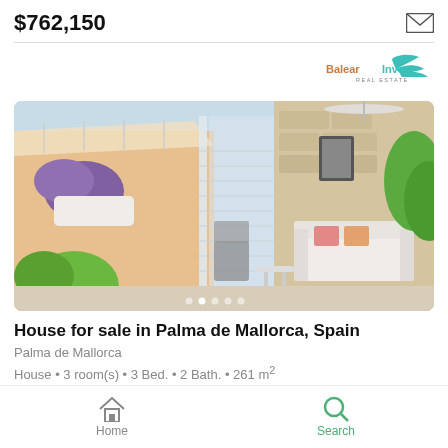$762,150
[Figure (photo): Exterior and interior view of a modern house with terrace, sliding glass doors, stone wall interior, white sofa, and lush green plants with purple flowers]
House for sale in Palma de Mallorca, Spain
Palma de Mallorca
House • 3 room(s) • 3 Bed. • 2 Bath. • 261 m²
Home | Search